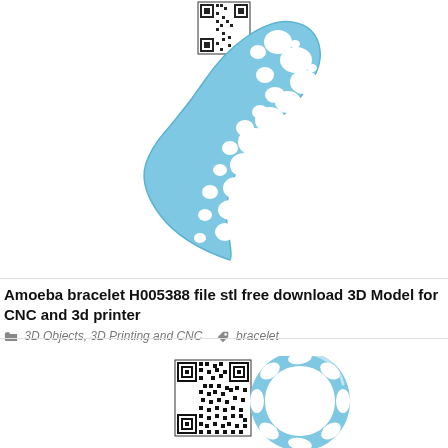[Figure (photo): A flat bracelet 3D model with amoeba/bubble pattern cutouts in light blue color, displayed diagonally on white background. A small QR code is visible in the top portion.]
Amoeba bracelet H005388 file stl free download 3D Model for CNC and 3d printer
3D Objects, 3D Printing and CNC   bracelet
[Figure (photo): A round/circular bracelet 3D model with voronoi/organic cutout pattern in light blue color, partially visible at bottom of page. A QR code is visible on the left side.]